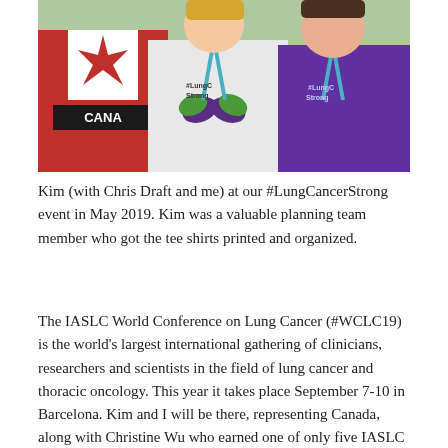[Figure (photo): Three people posing together outdoors. On the left a person in a red and white Canada jersey, in the middle a woman with a blue lanyard wearing a white t-shirt that reads #LungCancerStrong with a green butterfly, and on the right a woman wearing a purple #LungCancerStrong t-shirt with a blue lanyard.]
Kim (with Chris Draft and me) at our #LungCancerStrong event in May 2019. Kim was a valuable planning team member who got the tee shirts printed and organized.
The IASLC World Conference on Lung Cancer (#WCLC19) is the world's largest international gathering of clinicians, researchers and scientists in the field of lung cancer and thoracic oncology. This year it takes place September 7-10 in Barcelona. Kim and I will be there, representing Canada, along with Christine Wu who earned one of only five IASLC patient advocacy travel awards for